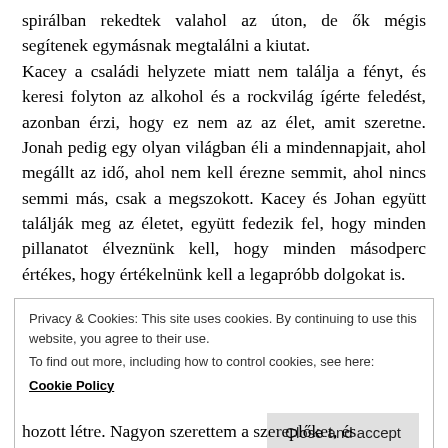spirálban rekedtek valahol az úton, de ők mégis segítenek egymásnak megtalálni a kiutat. Kacey a családi helyzete miatt nem találja a fényt, és keresi folyton az alkohol és a rockvilág ígérte feledést, azonban érzi, hogy ez nem az az élet, amit szeretne. Jonah pedig egy olyan világban éli a mindennapjait, ahol megállt az idő, ahol nem kell érezne semmit, ahol nincs semmi más, csak a megszokott. Kacey és Johan együtt találják meg az életet, együtt fedezik fel, hogy minden pillanatot élveznünk kell, hogy minden másodperc értékes, hogy értékelnünk kell a legapróbb dolgokat is.
Privacy & Cookies: This site uses cookies. By continuing to use this website, you agree to their use.
To find out more, including how to control cookies, see here:
Cookie Policy
Close and accept
hozott létre. Nagyon szerettem a szereplőket, és